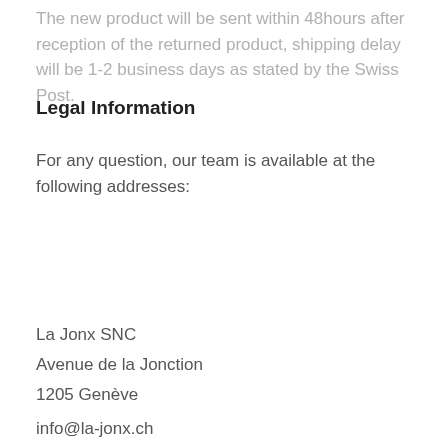The new product will be sent within 48hours after reception of the returned product, shipping delay will be 1-2 business days as stated by the Swiss Post.
Legal Information
For any question, our team is available at the following addresses:
La Jonx SNC
Avenue de la Jonction
1205 Genève
info@la-jonx.ch